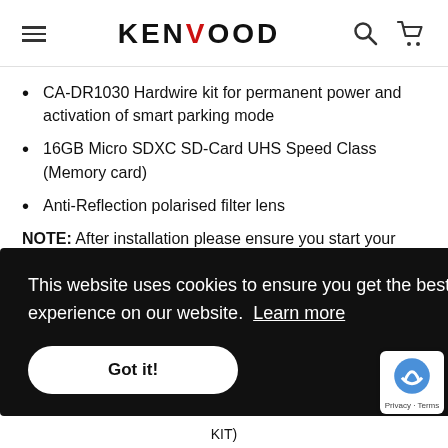KENWOOD
CA-DR1030 Hardwire kit for permanent power and activation of smart parking mode
16GB Micro SDXC SD-Card UHS Speed Class (Memory card)
Anti-Reflection polarised filter lens
NOTE: After installation please ensure you start your engine. Otherwise, your dashcam may remain in sleep mode (smart parking), due to battery conditions.
Optional Extras
This website uses cookies to ensure you get the best experience on our website. Learn more
Got it!
KIT)